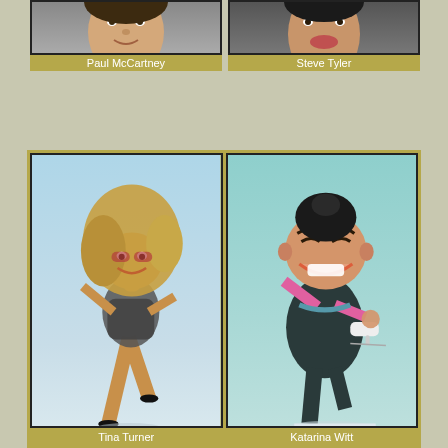[Figure (illustration): Caricature illustration of Paul McCartney (partially visible, top portion)]
Paul McCartney
[Figure (illustration): Caricature illustration of Steve Tyler (partially visible, top portion)]
Steve Tyler
[Figure (illustration): Caricature illustration of Tina Turner dancing in a sparkly outfit on a blue background]
Tina Turner
[Figure (illustration): Caricature illustration of Katarina Witt in a dark outfit holding an ice skate, on a teal background]
Katarina Witt